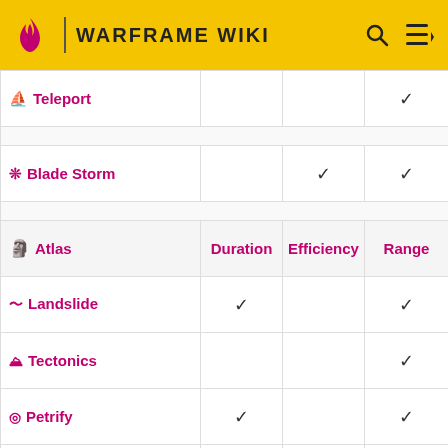WARFRAME WIKI
|  | Duration | Efficiency | Range |
| --- | --- | --- | --- |
| Teleport |  |  | ✓ |
| Blade Storm |  | ✓ | ✓ |
| Atlas | Duration | Efficiency | Range |
| Landslide | ✓ |  | ✓ |
| Tectonics |  |  | ✓ |
| Petrify | ✓ |  | ✓ |
| Rumblers | ✓ |  | ✓ |
| Banshee | Duration | Efficiency | Range |